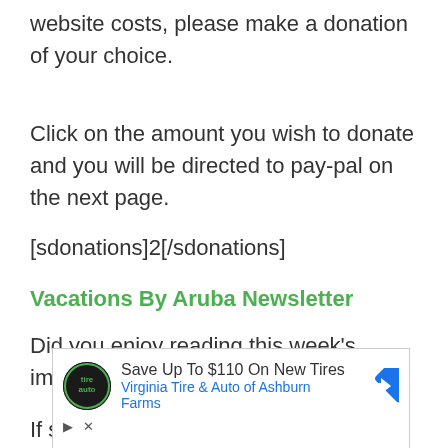website costs, please make a donation of your choice.
Click on the amount you wish to donate and you will be directed to pay-pal on the next page.
[sdonations]2[/sdonations]
Vacations By Aruba Newsletter
Did you enjoy reading this week's important Aruba news recap?
If so sign up for my newsletter to get future news
[Figure (other): Advertisement banner: Save Up To $110 On New Tires - Virginia Tire & Auto of Ashburn Farms]